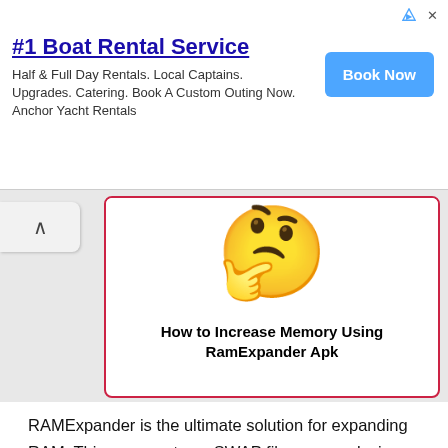[Figure (other): Advertisement banner for #1 Boat Rental Service with Book Now button]
[Figure (illustration): Thinking emoji face with hand on chin inside a red-bordered white card with title 'How to Increase Memory Using RamExpander Apk']
RAMExpander is the ultimate solution for expanding RAM. This app creates a SWAP file on your device by using the SD card. To do it, all you need is a rooted android device. The swap files can be used as virtual memory in